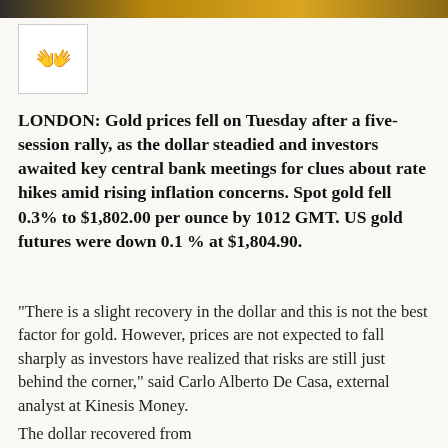[Figure (illustration): Small icon of a hand/clapping emoji inside a bordered box, serving as a logo or branding element]
LONDON: Gold prices fell on Tuesday after a five-session rally, as the dollar steadied and investors awaited key central bank meetings for clues about rate hikes amid rising inflation concerns. Spot gold fell 0.3% to $1,802.00 per ounce by 1012 GMT. US gold futures were down 0.1 % at $1,804.90.
"There is a slight recovery in the dollar and this is not the best factor for gold. However, prices are not expected to fall sharply as investors have realized that risks are still just behind the corner," said Carlo Alberto De Casa, external analyst at Kinesis Money.
The dollar recovered from...